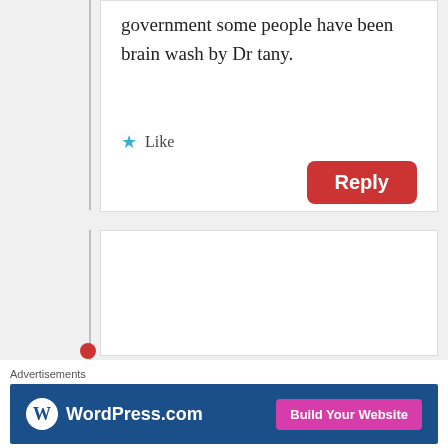government some people have been brain wash by Dr tany.
Like
Reply
GatNor
April 20, 2015 at 11:39 am
Unlike the leader of your ethnic regime Machar does is not everything, he Macahr has a position with specific advisors on a range of issues and an
Advertisements
[Figure (screenshot): WordPress.com advertisement banner with logo and 'Build Your Website' button]